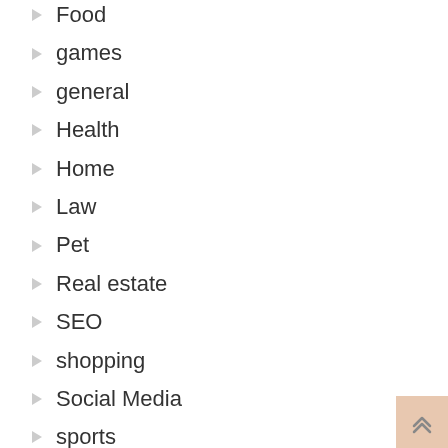Food
games
general
Health
Home
Law
Pet
Real estate
SEO
shopping
Social Media
sports